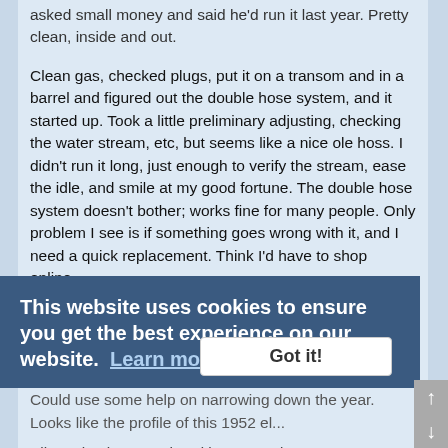asked small money and said he'd run it last year. Pretty clean, inside and out.
Clean gas, checked plugs, put it on a transom and in a barrel and figured out the double hose system, and it started up. Took a little preliminary adjusting, checking the water stream, etc, but seems like a nice ole hoss. I didn't run it long, just enough to verify the stream, ease the idle, and smile at my good fortune. The double hose system doesn't bother; works fine for many people. Only problem I see is if something goes wrong with it, and I need a quick replacement. Think I'd have to shop online.
Found the serial number on the power head, but darned if I can find a chart. I may have looked at the right pages and just didn't read them right. Dunno.
Could use some help on narrowing down the year. Looks like the profile of this 1952 el...
Silver plug in power head is stamped 1335609. No letters nor nameplate id anywhere I could find.
Thank you, very much.
This website uses cookies to ensure you get the best experience on our website. Learn more
Got it!